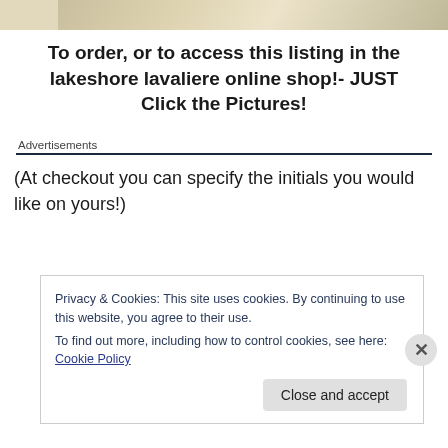[Figure (photo): Partial photo strip at the top of the page showing a beige/cream colored background with a blurred object]
To order, or to access this listing in the lakeshore lavaliere online shop!- JUST Click the Pictures!
Advertisements
(At checkout you can specify the initials you would like on yours!)
Privacy & Cookies: This site uses cookies. By continuing to use this website, you agree to their use.
To find out more, including how to control cookies, see here: Cookie Policy
Close and accept